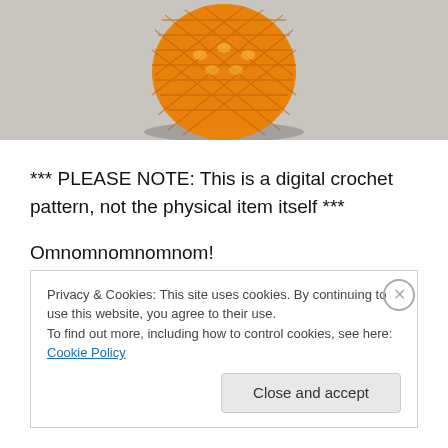[Figure (photo): Photo of an orange crocheted pineapple against a light gray background, shown from above/side angle]
*** PLEASE NOTE: This is a digital crochet pattern, not the physical item itself ***
Omnomnomnomnom!
Look at this very very tasty, juicy pineapple! Now you can make your own pineapple with this clear and easy to follow crochet pattern. 🙂 It also looks great as a kitchen decoration, or use it as toy food in a play kitchen.
Privacy & Cookies: This site uses cookies. By continuing to use this website, you agree to their use.
To find out more, including how to control cookies, see here: Cookie Policy
Close and accept